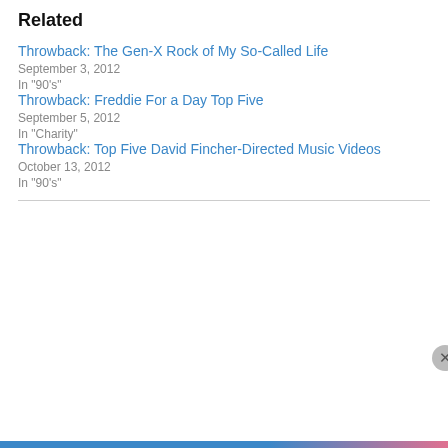Related
Throwback: The Gen-X Rock of My So-Called Life
September 3, 2012
In "90's"
Throwback: Freddie For a Day Top Five
September 5, 2012
In "Charity"
Throwback: Top Five David Fincher-Directed Music Videos
October 13, 2012
In "90's"
Privacy & Cookies: This site uses cookies. By continuing to use this website, you agree to their use.
To find out more, including how to control cookies, see here: Cookie Policy
Close and accept